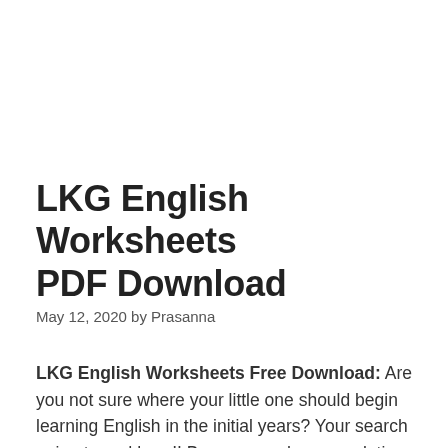LKG English Worksheets PDF Download
May 12, 2020 by Prasanna
LKG English Worksheets Free Download: Are you not sure where your little one should begin learning English in the initial years? Your search going to end here!! Because we have a solution for all parents out there. In order to assist you